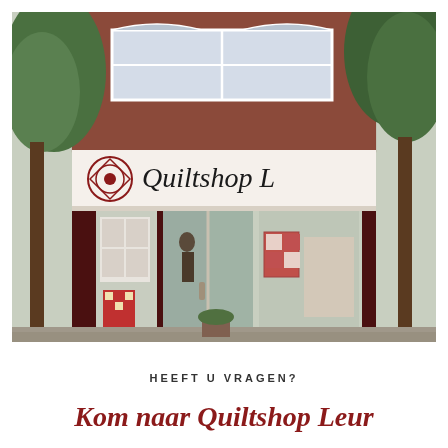[Figure (photo): Exterior photograph of Quiltshop Leur storefront, a Dutch retail shop with a white fascia sign reading 'Quiltshop L...' with a decorative quilt-pattern logo on the left. The building has brick upper floors with white-framed windows. Large display windows show quilts and fabric. Trees flank the building on both sides. A quilt display stand is visible on the left sidewalk.]
HEEFT U VRAGEN?
Kom naar Quiltshop Leur